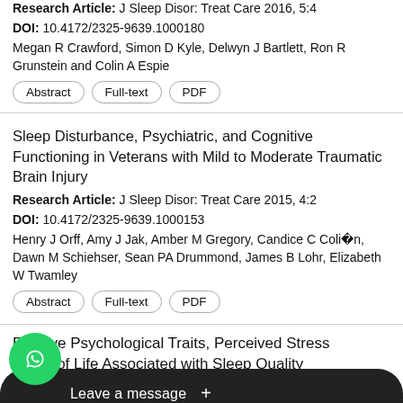Research Article: J Sleep Disor: Treat Care 2016, 5:4
DOI: 10.4172/2325-9639.1000180
Megan R Crawford, Simon D Kyle, Delwyn J Bartlett, Ron R Grunstein and Colin A Espie
Sleep Disturbance, Psychiatric, and Cognitive Functioning in Veterans with Mild to Moderate Traumatic Brain Injury
Research Article: J Sleep Disor: Treat Care 2015, 4:2
DOI: 10.4172/2325-9639.1000153
Henry J Orff, Amy J Jak, Amber M Gregory, Candice C Coli¿½n, Dawn M Schiehser, Sean PA Drummond, James B Lohr, Elizabeth W Twamley
Positive Psychological Traits, Perceived Stress and Quality of Life Associated with Sleep Quality in Older People
Research Article: ...